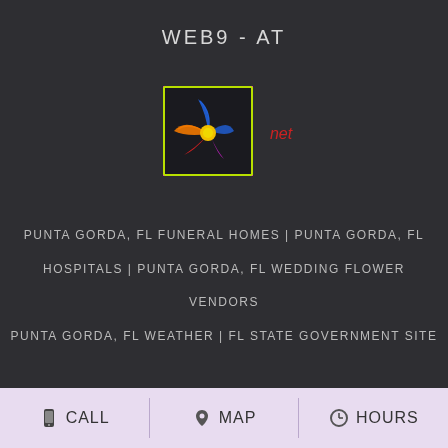[Figure (logo): SecureTrust Trusted Commerce - Click To Validate badge]
WEB9 - AT
[Figure (logo): Colorful pinwheel-style logo with waveform designs in blue, orange, red, magenta on dark background with 'net' in red italic text]
PUNTA GORDA, FL FUNERAL HOMES | PUNTA GORDA, FL HOSPITALS | PUNTA GORDA, FL WEDDING FLOWER VENDORS PUNTA GORDA, FL WEATHER | FL STATE GOVERNMENT SITE PRIVACY POLICY | TERMS OF PURCHASE
CALL   MAP   HOURS